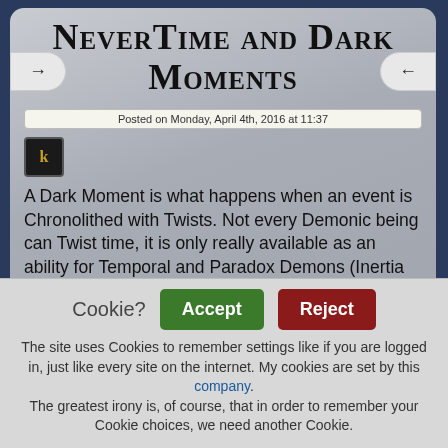NeverTime and Dark Moments
Posted on Monday, April 4th, 2016 at 11:37
[Figure (other): Small avatar icon with letter k on dark background]
A Dark Moment is what happens when an event is Chronolithed with Twists. Not every Demonic being can Twist time, it is only really available as an ability for Temporal and Paradox Demons (Inertia Demons and their ilk), at least until the events of the Paradox War. Dark Moments have one particular flavour where the Twists are
Cookie?
Accept
Reject
The site uses Cookies to remember settings like if you are logged in, just like every site on the internet. My cookies are set by this company.
The greatest irony is, of course, that in order to remember your Cookie choices, we need another Cookie.